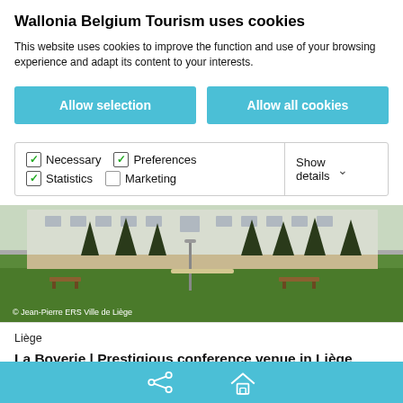Wallonia Belgium Tourism uses cookies
This website uses cookies to improve the function and use of your browsing experience and adapt its content to your interests.
Allow selection
Allow all cookies
Necessary  Preferences  Statistics  Marketing  Show details
[Figure (photo): Outdoor photo of La Boverie building with green lawn and benches, with copyright notice: © Jean-Pierre ERS Ville de Liège]
Liège
La Boverie | Prestigious conference venue in Liège
Treat yourself to an incentive event at la